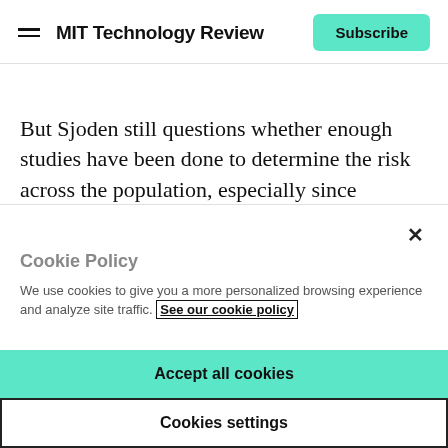MIT Technology Review | Subscribe
But Sjoden still questions whether enough studies have been done to determine the risk across the population, especially since children, the elderly, and some people with genetic predispositions to cancers are more sensitive to the effects of radiation.
Cookie Policy
We use cookies to give you a more personalized browsing experience and analyze site traffic. See our cookie policy
Accept all cookies
Cookies settings